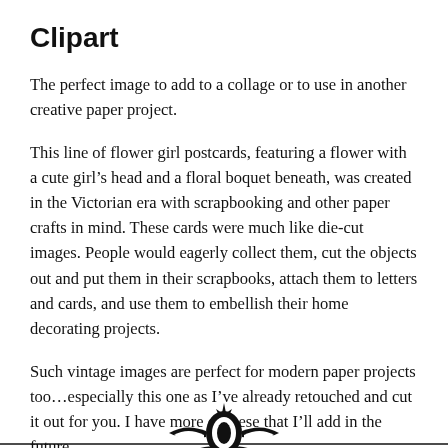Clipart
The perfect image to add to a collage or to use in another creative paper project.
This line of flower girl postcards, featuring a flower with a cute girl’s head and a floral boquet beneath, was created in the Victorian era with scrapbooking and other paper crafts in mind. These cards were much like die-cut images. People would eagerly collect them, cut the objects out and put them in their scrapbooks, attach them to letters and cards, and use them to embellish their home decorating projects.
Such vintage images are perfect for modern paper projects too…especially this one as I’ve already retouched and cut it out for you. I have more of these that I’ll add in the future.
[Figure (illustration): Decorative vintage floral ornament / clipart illustration at the bottom of the page, partially cropped, black and white.]